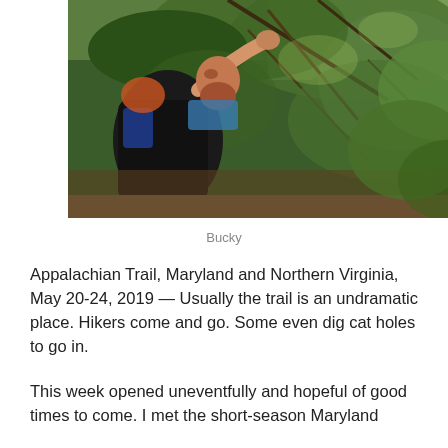[Figure (photo): A bearded hiker with a large backpack reaching up to hold a branch in a dense green forest.]
Bucky
Appalachian Trail, Maryland and Northern Virginia, May 20-24, 2019 — Usually the trail is an undramatic place. Hikers come and go.  Some even dig cat holes to go in.
This week opened uneventfully and hopeful of good times to come.  I met the short-season Maryland